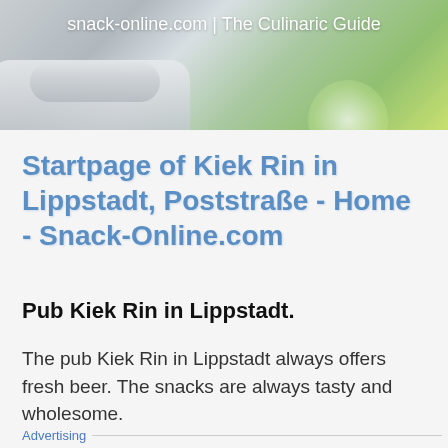snack-online.com | The Culinaric Guide
[Figure (photo): Decorative header banner image showing blurred kitchen/restaurant elements with silver handle on left and green bokeh on right]
Startpage of Kiek Rin in Lippstadt, Poststraße - Home - Snack-Online.com
Pub Kiek Rin in Lippstadt.
The pub Kiek Rin in Lippstadt always offers fresh beer. The snacks are always tasty and wholesome.
Advertising